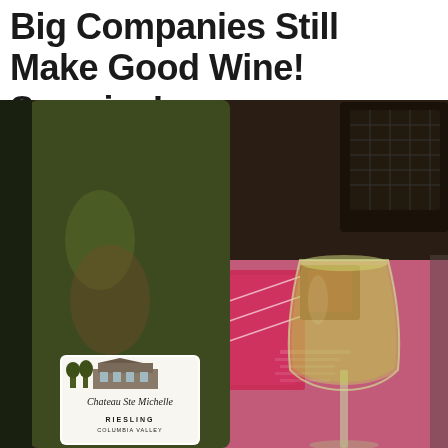Big Companies Still Make Good Wine!  Surprise!
[Figure (photo): Close-up photo of a Chateau Ste Michelle Riesling Columbia Valley wine bottle with its white label showing an estate building illustration, next to a wine glass filled with white/yellow wine, with pink menus or cards visible in the background on a table.]